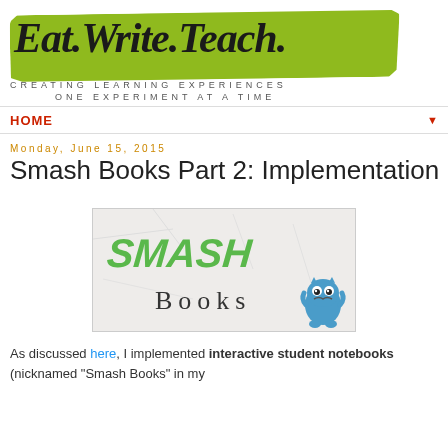[Figure (logo): Eat.Write.Teach. blog logo with green brush stroke background and tagline 'Creating Learning Experiences One Experiment at a Time']
HOME ▼
Monday, June 15, 2015
Smash Books Part 2: Implementation
[Figure (illustration): Smash Books logo image - text 'SMASH' in green on crumpled paper background with 'Books' in serif font and a blue monster mascot]
As discussed here, I implemented interactive student notebooks (nicknamed "Smash Books" in my